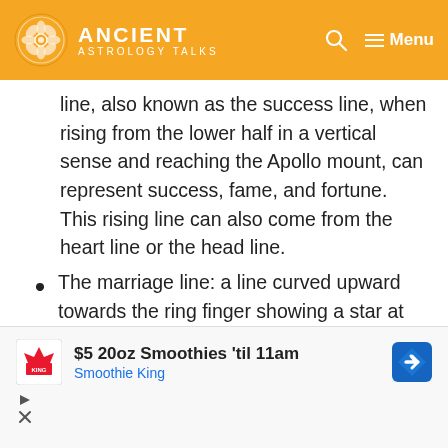ANCIENT ASTROLOGY TALKS
line, also known as the success line, when rising from the lower half in a vertical sense and reaching the Apollo mount, can represent success, fame, and fortune. This rising line can also come from the heart line or the head line.
The marriage line: a line curved upward towards the ring finger showing a star at the end. It indicates a wealthy marriage with a partner of great fame and reputation, and you wouldn't have to
[Figure (screenshot): Smoothie King advertisement banner: '$5 20oz Smoothies 'til 11am' with Smoothie King logo and blue arrow icon]